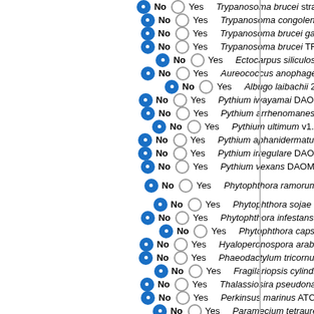No Yes — Trypanosoma brucei gambiense
No Yes — Trypanosoma congolense 2.
No Yes — Trypanosoma brucei gambie
No Yes — Trypanosoma brucei TREU9
No Yes — Ectocarpus siliculosus
No Yes — Aureococcus anophageffere
No Yes — Albugo laibachii 22
No Yes — Pythium iwayamai DAOM BR
No Yes — Pythium arrhenomanes ATC
No Yes — Pythium ultimum v1.7-2
No Yes — Pythium aphanidermatum DA
No Yes — Pythium irregulare DAOM BR
No Yes — Pythium vexans DAOM BR4
No Yes — Phytophthora ramorum 1.1
No Yes — Phytophthora sojae 1.1
No Yes — Phytophthora infestans T30-
No Yes — Phytophthora capsici
No Yes — Hyaloperonospora arabidops
No Yes — Phaeodactylum tricornutumC
No Yes — Fragilariopsis cylindrus
No Yes — Thalassiosira pseudonana C
No Yes — Perkinsus marinus ATCC 50
No Yes — Paramecium tetraurelia
No Yes — Tetrahymena thermophila SF